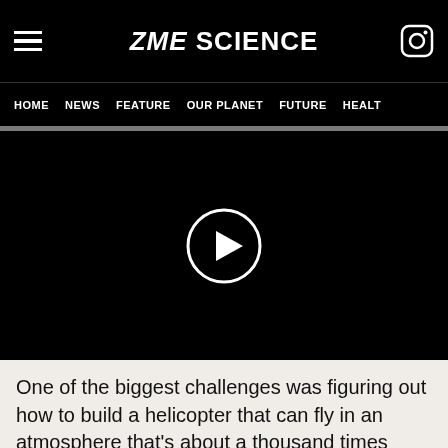ZME SCIENCE
HOME  NEWS  FEATURE  OUR PLANET  FUTURE  HEALTH
[Figure (screenshot): Black video player area with a white circular play button in the center]
One of the biggest challenges was figuring out how to build a helicopter that can fly in an atmosphere that's about a thousand times thinner than on Earth. Just imagine that